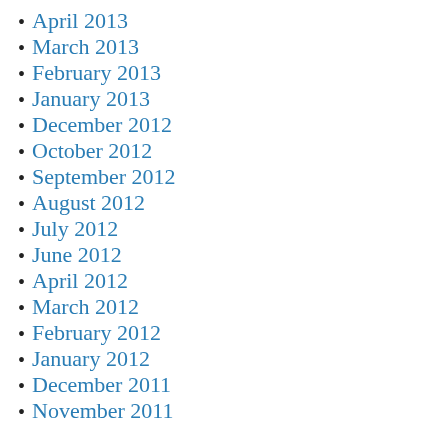April 2013
March 2013
February 2013
January 2013
December 2012
October 2012
September 2012
August 2012
July 2012
June 2012
April 2012
March 2012
February 2012
January 2012
December 2011
November 2011